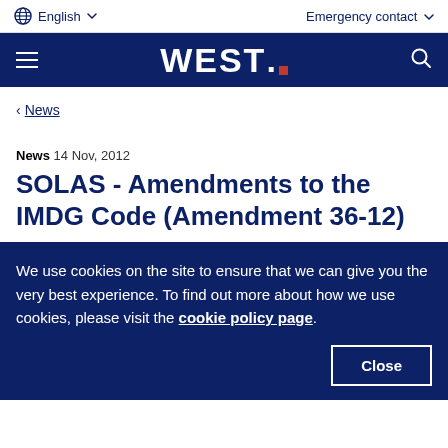English   Emergency contact
[Figure (logo): WEST. logo with red square dot on dark navy navigation bar]
< News
News  14 Nov, 2012
SOLAS - Amendments to the IMDG Code (Amendment 36-12)
We use cookies on the site to ensure that we can give you the very best experience. To find out more about how we use cookies, please visit the cookie policy page.
Close